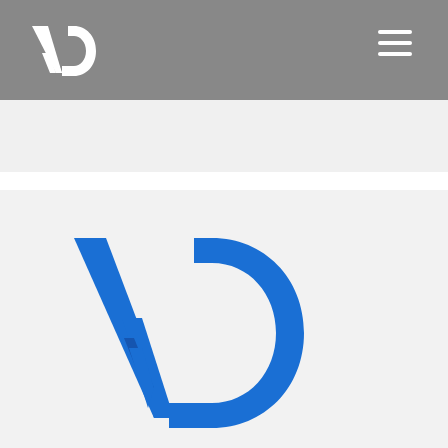[Figure (logo): VD logo in white on gray header bar, and a larger blue VD logo in the main content area below]
[Figure (logo): Blue VD monogram logo, partially visible at bottom of page]